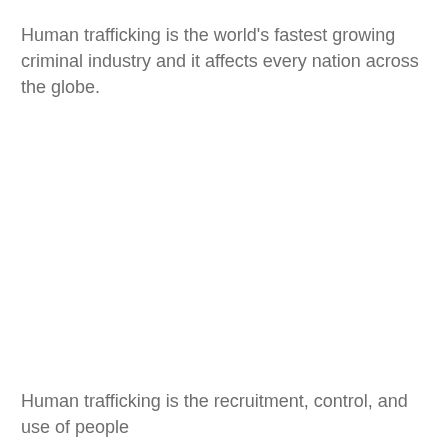Human trafficking is the world's fastest growing criminal industry and it affects every nation across the globe.
Human trafficking is the recruitment, control, and use of people